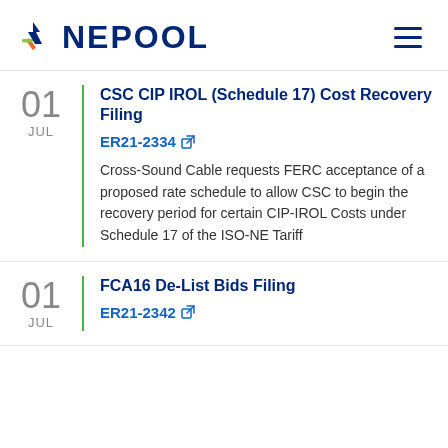NEPOOL
CSC CIP IROL (Schedule 17) Cost Recovery Filing
ER21-2334
Cross-Sound Cable requests FERC acceptance of a proposed rate schedule to allow CSC to begin the recovery period for certain CIP-IROL Costs under Schedule 17 of the ISO-NE Tariff
FCA16 De-List Bids Filing
ER21-2342